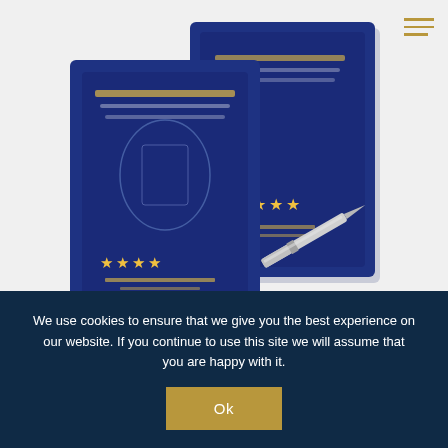[Figure (photo): Two navy blue boxes of Skin Monarch Baron 360 Cartridge tattoo needles with gold star ratings printed on them, with a cartridge needle visible in the foreground, on a light grey background.]
Skin Monarch Baron 360 Cartridge (20 pcs.)
35.00 €
Select options
We use cookies to ensure that we give you the best experience on our website. If you continue to use this site we will assume that you are happy with it.
Ok